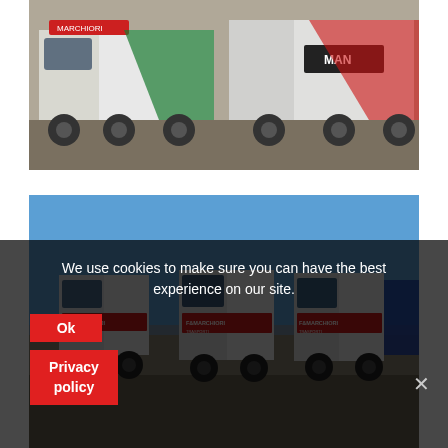[Figure (photo): Photograph of multiple white trucks/lorries parked, including a MAN branded truck with green and red markings, older style vehicles]
[Figure (photo): Photograph of modern white Marchiori Trasporti branded semi-trucks lined up under a blue sky]
We use cookies to make sure you can have the best experience on our site.
Ok
Privacy policy